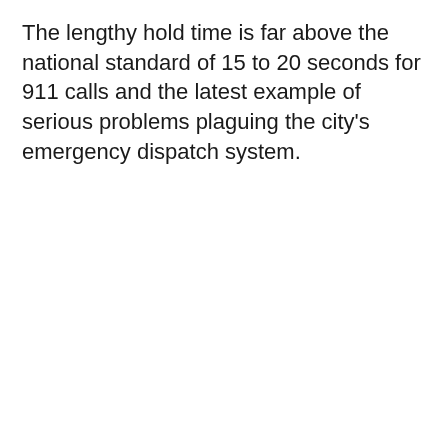The lengthy hold time is far above the national standard of 15 to 20 seconds for 911 calls and the latest example of serious problems plaguing the city's emergency dispatch system.